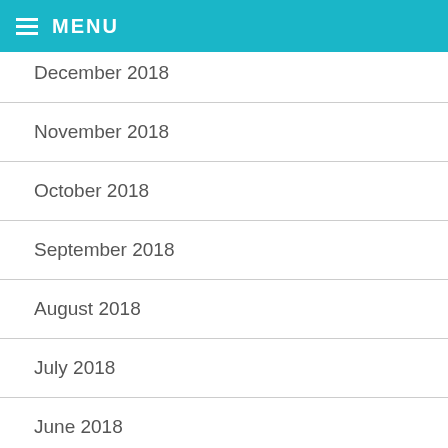MENU
December 2018
November 2018
October 2018
September 2018
August 2018
July 2018
June 2018
May 2018
April 2018